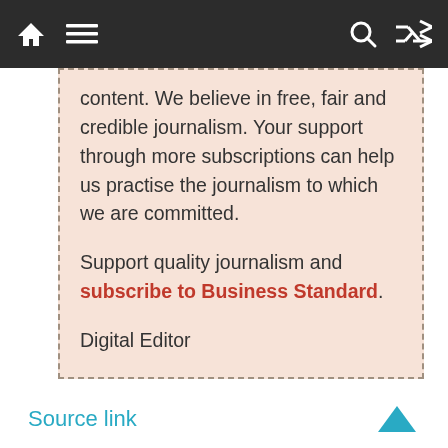[navigation bar with home, menu, search, shuffle icons]
content. We believe in free, fair and credible journalism. Your support through more subscriptions can help us practise the journalism to which we are committed.
Support quality journalism and subscribe to Business Standard.
Digital Editor
Source link